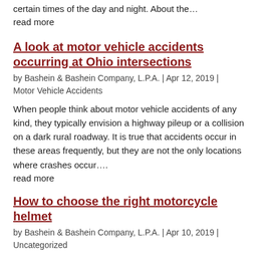certain times of the day and night. About the… read more
A look at motor vehicle accidents occurring at Ohio intersections
by Bashein & Bashein Company, L.P.A. | Apr 12, 2019 | Motor Vehicle Accidents
When people think about motor vehicle accidents of any kind, they typically envision a highway pileup or a collision on a dark rural roadway. It is true that accidents occur in these areas frequently, but they are not the only locations where crashes occur…. read more
How to choose the right motorcycle helmet
by Bashein & Bashein Company, L.P.A. | Apr 10, 2019 | Uncategorized